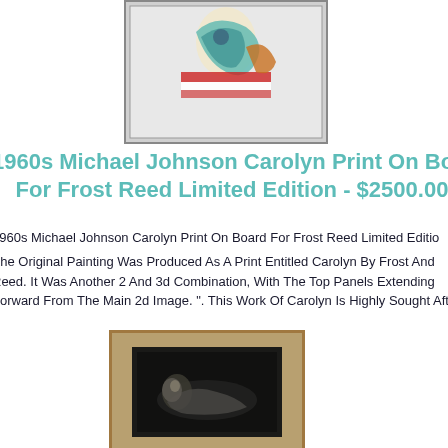[Figure (photo): Framed colorful artwork showing a figure with red, white, blue and teal/green decorative elements, displayed in a silver/gray frame against a light background.]
1960s Michael Johnson Carolyn Print On Board For Frost Reed Limited Edition - $2500.00
1960s Michael Johnson Carolyn Print On Board For Frost Reed Limited Edition
"the Original Painting Was Produced As A Print Entitled Carolyn By Frost And Reed. It Was Another 2 And 3d Combination, With The Top Panels Extending Forward From The Main 2d Image. ". This Work Of Carolyn Is Highly Sought Afte
[Figure (photo): Framed artwork in a gold/wooden frame showing a dark monochrome image of a reclining figure.]